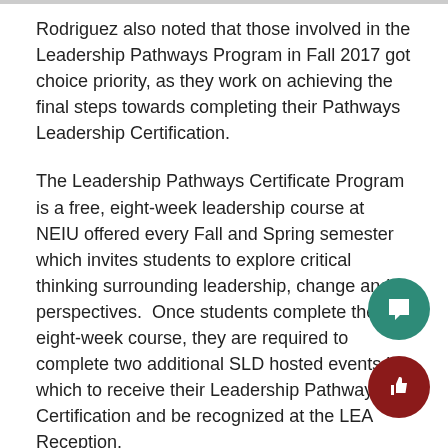Rodriguez also noted that those involved in the Leadership Pathways Program in Fall 2017 got choice priority, as they work on achieving the final steps towards completing their Pathways Leadership Certification.
The Leadership Pathways Certificate Program is a free, eight-week leadership course at NEIU offered every Fall and Spring semester which invites students to explore critical thinking surrounding leadership, change and perspectives.  Once students complete the eight-week course, they are required to complete two additional SLD hosted events in which to receive their Leadership Pathways Certification and be recognized at the LEA Reception.
Although the retreat piloted in 2012, this was only the third one that NEIU has hosted, with the second in 2015.